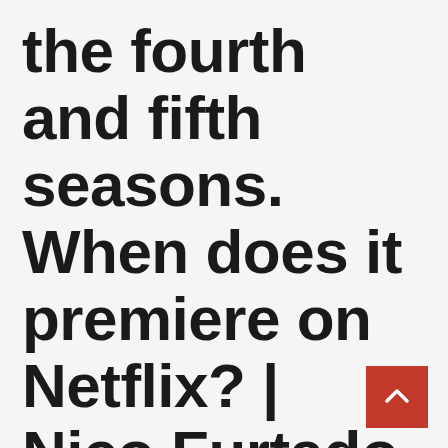the fourth and fifth seasons. When does it premiere on Netflix? | Nico Furtado | Argentina | skip
[Figure (other): Red scroll-to-top button with upward chevron arrow]